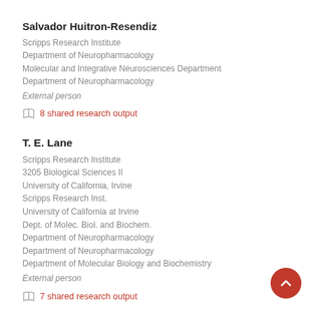Salvador Huitron-Resendiz
Scripps Research Institute
Department of Neuropharmacology
Molecular and Integrative Neurosciences Department
Department of Neuropharmacology
External person
8 shared research output
T. E. Lane
Scripps Research Institute
3205 Biological Sciences II
University of California, Irvine
Scripps Research Inst.
University of California at Irvine
Dept. of Molec. Biol. and Biochem.
Department of Neuropharmacology
Department of Neuropharmacology
Department of Molecular Biology and Biochemistry
External person
7 shared research output